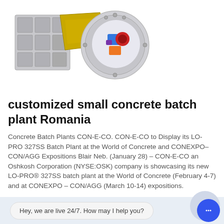[Figure (illustration): Industrial concrete batch plant machine cutaway illustration showing internal components with colorful parts visible]
customized small concrete batch plant Romania
Concrete Batch Plants CON-E-CO. CON-E-CO to Display its LO-PRO 327SS Batch Plant at the World of Concrete and CONEXPO–CON/AGG Expositions Blair Neb. (January 28) – CON-E-CO an Oshkosh Corporation (NYSE:OSK) company is showcasing its new LO-PRO® 327SS batch plant at the World of Concrete (February 4-7) and at CONEXPO – CON/AGG (March 10-14) expositions.
LEARN MORE
Hey, we are live 24/7. How may I help you?